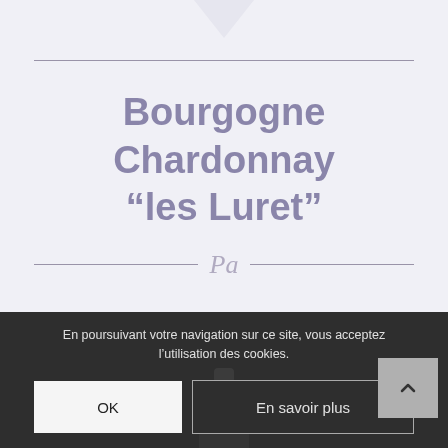[Figure (illustration): Wine product page showing downward chevron arrow at top, decorative horizontal rules, and the wine name in large bold muted purple text with a script logo divider]
Bourgogne Chardonnay "les Luret"
[Figure (illustration): Script/cursive logo text between two horizontal lines]
En poursuivant votre navigation sur ce site, vous acceptez l'utilisation des cookies.
OK
En savoir plus